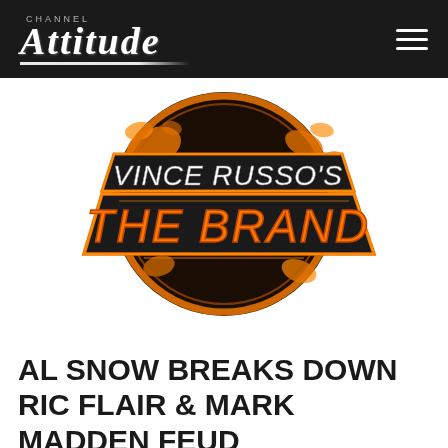Channel Attitude
[Figure (logo): Vince Russo's The Brand logo — circular dark badge with orange paint splatter, black and orange banner with white italic text 'VINCE RUSSO'S' and orange bold text 'THE BRAND']
AL SNOW BREAKS DOWN RIC FLAIR & MARK MADDEN FEUD